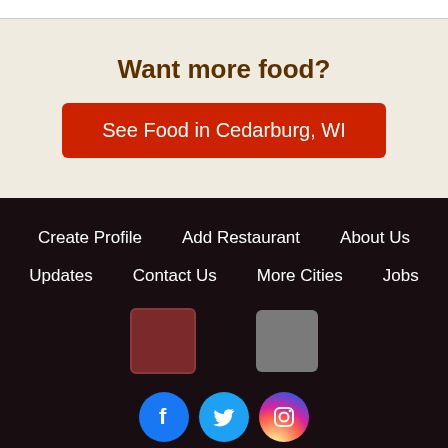Want more food?
See Food in Cedarburg, WI
Create Profile
Add Restaurant
About Us
Updates
Contact Us
More Cities
Jobs
[Figure (logo): App store badge (red/dark)]
[Figure (logo): App store badge (gray)]
[Figure (logo): Social media icons: Facebook, Twitter, Instagram]